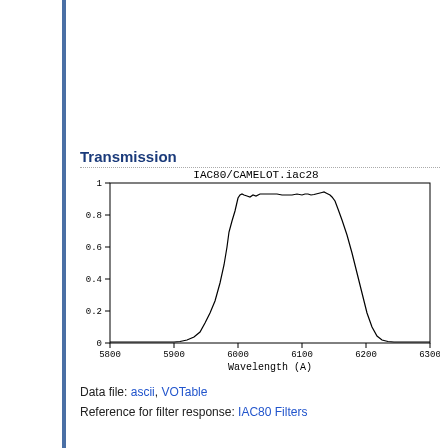Transmission
[Figure (continuous-plot): Filter transmission curve for IAC80/CAMELOT.iac28. The curve rises from near 0 at ~5900 A to a plateau of ~0.9 between ~5990 and ~6150 A, with a slight peak near 0.92 around 6130 A, then falls back to near 0 by ~6230 A. Y-axis ticks: 0, 0.2, 0.4, 0.6, 0.8, 1. X-axis ticks: 5800, 5900, 6000, 6100, 6200, 6300.]
Data file: ascii, VOTable
Reference for filter response: IAC80 Filters